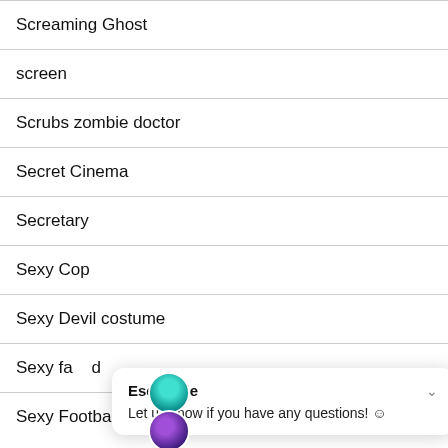Screaming Ghost
screen
Scrubs zombie doctor
Secret Cinema
Secretary
Sexy Cop
Sexy Devil costume
Sexy fa d
Sexy Football Player